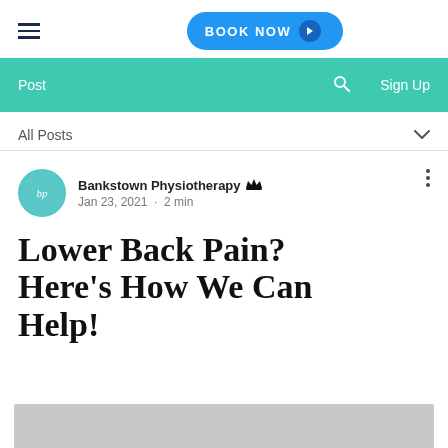BOOK NOW
Post  Sign Up
All Posts
Bankstown Physiotherapy  Admin
Jan 23, 2021 · 2 min
Lower Back Pain? Here's How We Can Help!
[Figure (photo): Gray placeholder image strip at bottom of page]